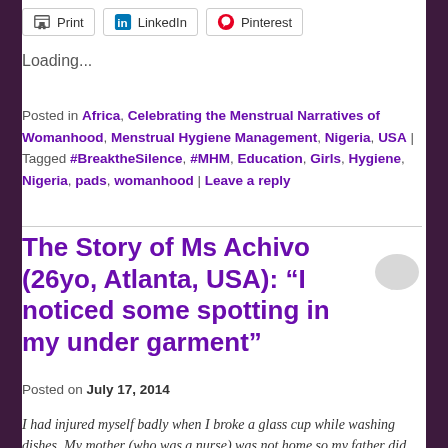[Figure (screenshot): Share buttons for Print, LinkedIn, and Pinterest]
Loading...
Posted in Africa, Celebrating the Menstrual Narratives of Womanhood, Menstrual Hygiene Management, Nigeria, USA | Tagged #BreaktheSilence, #MHM, Education, Girls, Hygiene, Nigeria, pads, womanhood | Leave a reply
The Story of Ms Achivo (26yo, Atlanta, USA): “I noticed some spotting in my under garment”
Posted on July 17, 2014
I had injured myself badly when I broke a glass cup while washing dishes. My mother (who was a nurse) was not home so my father did his best to patch up the injury. Unfortunately the